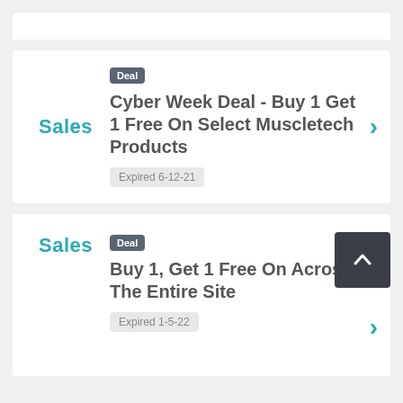Sales
Deal
Cyber Week Deal - Buy 1 Get 1 Free On Select Muscletech Products
Expired 6-12-21
Sales
Deal
Buy 1, Get 1 Free On Across The Entire Site
Expired 1-5-22